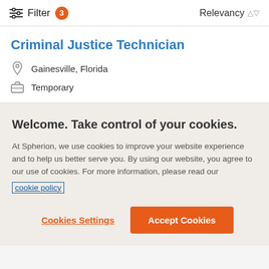Filter 3   Relevancy
Criminal Justice Technician
Gainesville, Florida
Temporary
Welcome. Take control of your cookies.
At Spherion, we use cookies to improve your website experience and to help us better serve you. By using our website, you agree to our use of cookies. For more information, please read our cookie policy
Cookies Settings
Accept Cookies